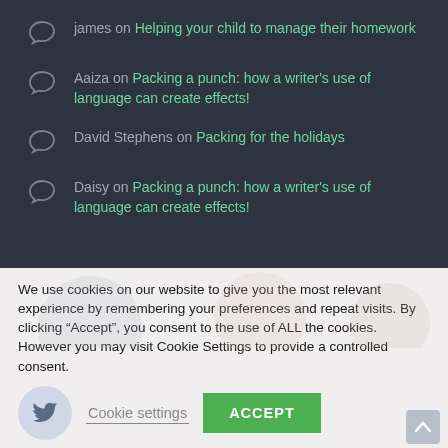james on Helping your child to manage their homework
Aaiza on Packing a punch: how a writer's use of language can create effects!
David Stephens on Packing for the holidays
Daisy on Packing a punch: how a writer's use of language can create effects!
We use cookies on our website to give you the most relevant experience by remembering your preferences and repeat visits. By clicking “Accept”, you consent to the use of ALL the cookies. However you may visit Cookie Settings to provide a controlled consent.